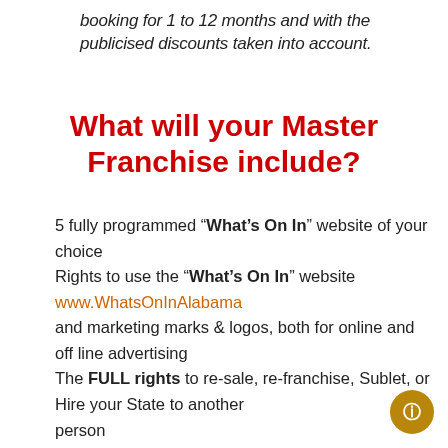booking for 1 to 12 months and with the publicised discounts taken into account.
What will your Master Franchise include?
5 fully programmed “What’s On In” website of your choice
Rights to use the “What’s On In” website www.WhatsOnInAlabama and marketing marks & logos, both for online and off line advertising
The FULL rights to re-sale, re-franchise, Sublet, or Hire your State to another person